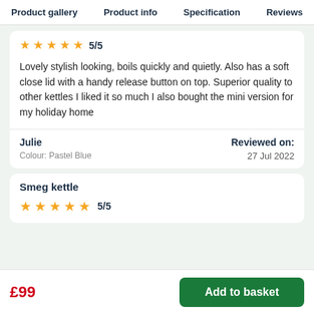Product gallery   Product info   Specification   Reviews
★★★★★ 5/5
Lovely stylish looking, boils quickly and quietly. Also has a soft close lid with a handy release button on top. Superior quality to other kettles I liked it so much I also bought the mini version for my holiday home
Julie   Colour: Pastel Blue   Reviewed on: 27 Jul 2022
Smeg kettle ★★★★★ 5/5
£99   Add to basket